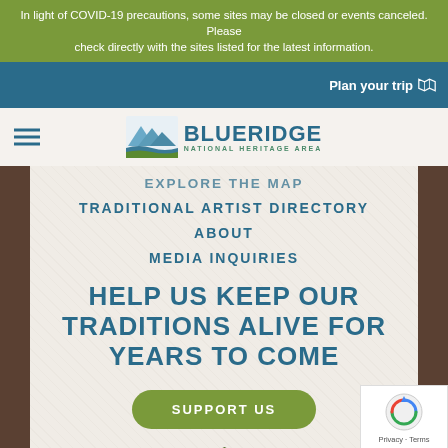In light of COVID-19 precautions, some sites may be closed or events canceled. Please check directly with the sites listed for the latest information.
Plan your trip
[Figure (logo): Blue Ridge National Heritage Area logo with mountain and water imagery]
EXPLORE THE MAP
TRADITIONAL ARTIST DIRECTORY
ABOUT
MEDIA INQUIRIES
HELP US KEEP OUR TRADITIONS ALIVE FOR YEARS TO COME
SUPPORT US
[Figure (logo): National Park Service arrowhead shield badge, partially visible at bottom]
[Figure (other): reCAPTCHA widget badge in bottom right corner with Privacy and Terms links]